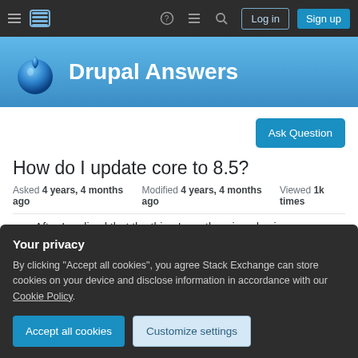Drupal Answers — navigation bar with Log in and Sign up buttons
Drupal Answers
Ask Question
How do I update core to 8.5?
Asked 4 years, 4 months ago   Modified 4 years, 4 months ago   Viewed 1k times
After I realized that the thing I mostly enjoyed using
Your privacy
By clicking "Accept all cookies", you agree Stack Exchange can store cookies on your device and disclose information in accordance with our Cookie Policy.
Accept all cookies
Customize settings